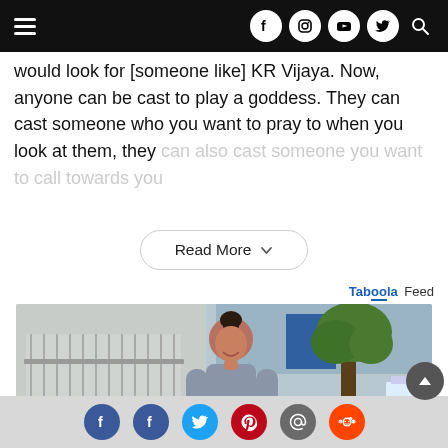Navigation bar with hamburger menu and social icons (Facebook, Instagram, YouTube, Twitter, Search)
would look for [someone like] KR Vijaya. Now, anyone can be cast to play a goddess. They can cast someone who you want to pray to when you look at them, they can also cast someone you want to call towards you
Read More
Taboola Feed
[Figure (photo): A smiling woman with dark hair in a bun, wearing a grey short-sleeve top, standing outdoors near a building with metal railings and a tree in the background.]
Social share bar with Facebook, Facebook, Twitter, Pinterest, Email, Reddit icons